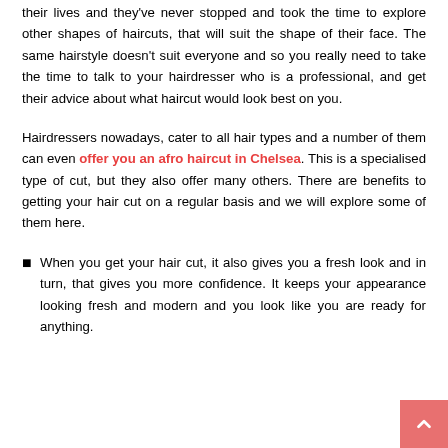their lives and they've never stopped and took the time to explore other shapes of haircuts, that will suit the shape of their face. The same hairstyle doesn't suit everyone and so you really need to take the time to talk to your hairdresser who is a professional, and get their advice about what haircut would look best on you.
Hairdressers nowadays, cater to all hair types and a number of them can even offer you an afro haircut in Chelsea. This is a specialised type of cut, but they also offer many others. There are benefits to getting your hair cut on a regular basis and we will explore some of them here.
When you get your hair cut, it also gives you a fresh look and in turn, that gives you more confidence. It keeps your appearance looking fresh and modern and you look like you are ready for anything.